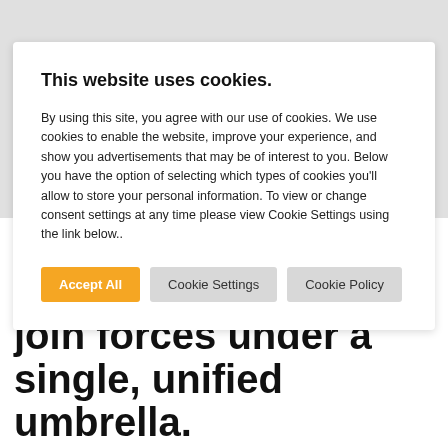This website uses cookies.
By using this site, you agree with our use of cookies. We use cookies to enable the website, improve your experience, and show you advertisements that may be of interest to you. Below you have the option of selecting which types of cookies you'll allow to store your personal information. To view or change consent settings at any time please view Cookie Settings using the link below..
Accept All  Cookie Settings  Cookie Policy
prominent melodic dance music artists join forces under a single, unified umbrella.